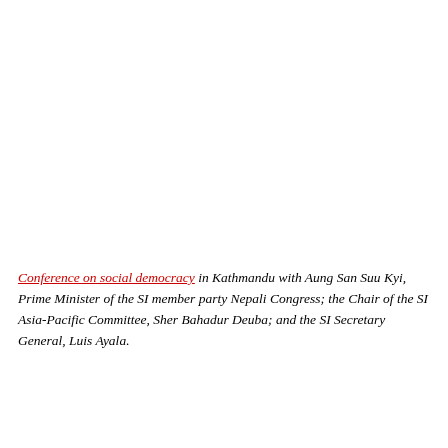Conference on social democracy in Kathmandu with Aung San Suu Kyi, Prime Minister of the SI member party Nepali Congress; the Chair of the SI Asia-Pacific Committee, Sher Bahadur Deuba; and the SI Secretary General, Luis Ayala.